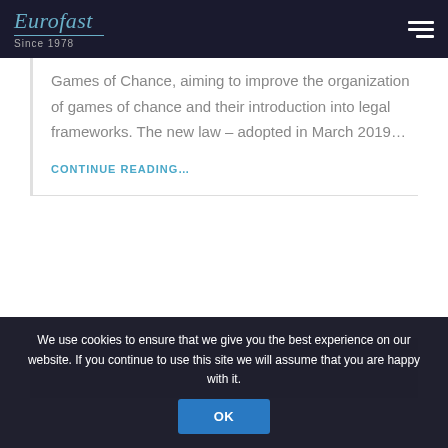Eurofast Since 1978
Games of Chance, aiming to improve the organization of games of chance and their introduction into legal frameworks. The new law – adopted in March 2019…
CONTINUE READING…
[Figure (other): Gray placeholder card area for another article]
We use cookies to ensure that we give you the best experience on our website. If you continue to use this site we will assume that you are happy with it.